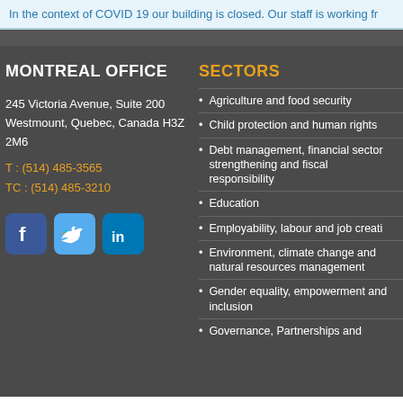In the context of COVID 19 our building is closed. Our staff is working fr
MONTREAL OFFICE
245 Victoria Avenue, Suite 200
Westmount, Quebec, Canada H3Z 2M6
T : (514) 485-3565
TC : (514) 485-3210
[Figure (illustration): Social media icons: Facebook, Twitter, LinkedIn]
SECTORS
Agriculture and food security
Child protection and human rights
Debt management, financial sector strengthening and fiscal responsibility
Education
Employability, labour and job creation
Environment, climate change and natural resources management
Gender equality, empowerment and inclusion
Governance, Partnerships and